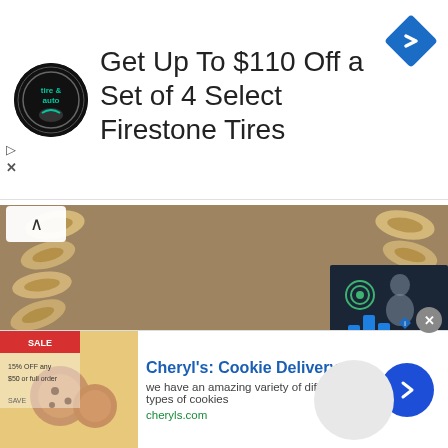[Figure (infographic): Top advertisement banner for Firestone Tires. Shows tire & auto circular logo on left, headline text 'Get Up To $110 Off a Set of 4 Select Firestone Tires', blue diamond navigation icon on right. Small play and X controls at lower left.]
[Figure (photo): Photo of peanuts arranged in a pattern on a wooden surface, used as background image for 'Easy Peanut Bird Feeder' article. A dark video player overlay is visible on the right side showing a person and blue bar chart/play icons.]
Easy Peanut Bird Fee...
Want to learn how to make yo...
[Figure (photo): Bottom advertisement for Cheryl's Cookie Delivery. Shows cookie/food image on the left, headline 'Cheryl's: Cookie Delivery', description text, cheryls.com URL, and a blue circular arrow button on the right.]